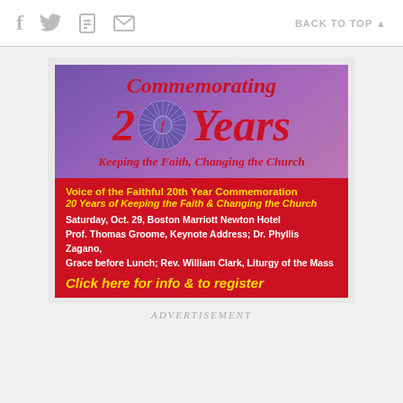f [twitter] [print] [email]   BACK TO TOP ▲
[Figure (illustration): Advertisement image for Voice of the Faithful 20th Year Commemoration event. Purple gradient background with large italic red text 'Commemorating 20 Years' with a decorative circular logo in the middle of '20', subtitle 'Keeping the Faith, Changing the Church'. Red lower panel with yellow bold text 'Voice of the Faithful 20th Year Commemoration', yellow italic bold '20 Years of Keeping the Faith & Changing the Church', white text 'Saturday, Oct. 29, Boston Marriott Newton Hotel Prof. Thomas Groome, Keynote Address; Dr. Phyllis Zagano, Grace before Lunch; Rev. William Clark, Liturgy of the Mass', and yellow italic bold 'Click here for info & to register'.]
ADVERTISEMENT